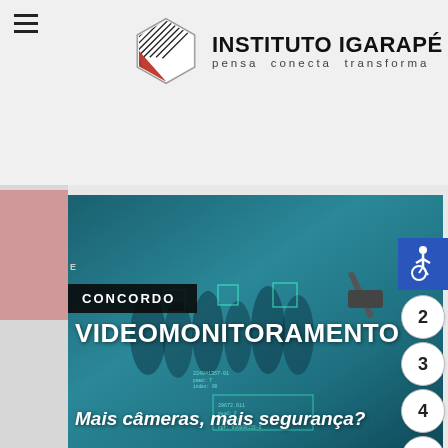[Figure (logo): Instituto Igarapé logo with hexagon icon and text 'INSTITUTO IGARAPÉ pensa conecta transforma']
[Figure (screenshot): Website screenshot showing Instituto Igarapé page with video monitoring article. Features a teal-colored surveillance/crowd monitoring image with text 'CONCORDO', 'VIDEOMONITORAMENTO', and 'Mais câmeras, mais segurança?'. Navigation numbers 2-8 on right side and accessibility icon.]